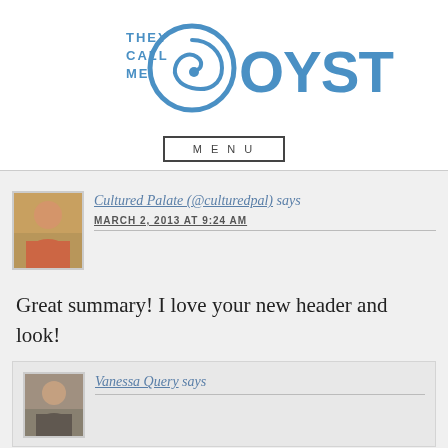[Figure (logo): They Call Me Oystergirl blog logo with blue stylized oyster shell graphic and text]
MENU
Cultured Palate (@culturedpal) says
MARCH 2, 2013 AT 9:24 AM
Great summary! I love your new header and look!
Vanessa Query says